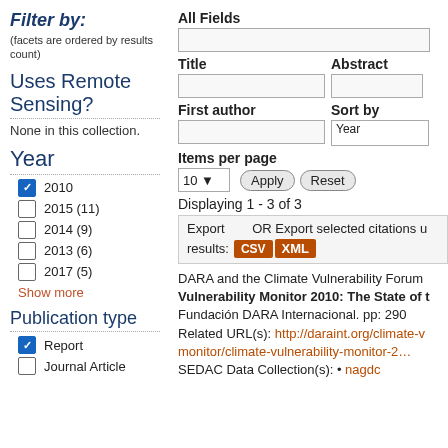Filter by: (facets are ordered by results count)
Uses Remote Sensing?
None in this collection.
Year
2010 (checked)
2015 (11)
2014 (9)
2013 (6)
2017 (5)
Show more
Publication type
Report (checked)
Journal Article
All Fields [search input]
Title [input] | Abstract [input]
First author [input] | Sort by: Year
Items per page: 10 | Apply | Reset
Displaying 1 - 3 of 3
Export   OR Export selected citations u results: CSV XML
DARA and the Climate Vulnerability Forum
Vulnerability Monitor 2010: The State of t
Fundación DARA Internacional. pp: 290
Related URL(s): http://daraint.org/climate-v monitor/climate-vulnerability-monitor-2…
SEDAC Data Collection(s): • nagdc